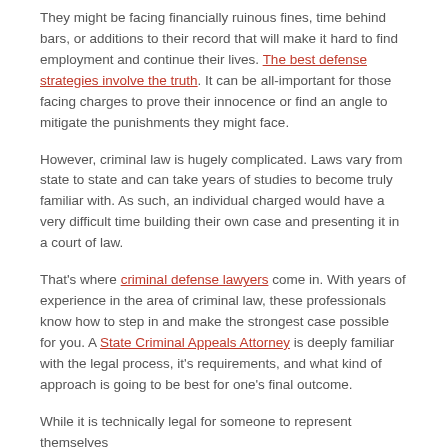They might be facing financially ruinous fines, time behind bars, or additions to their record that will make it hard to find employment and continue their lives. The best defense strategies involve the truth. It can be all-important for those facing charges to prove their innocence or find an angle to mitigate the punishments they might face.
However, criminal law is hugely complicated. Laws vary from state to state and can take years of studies to become truly familiar with. As such, an individual charged would have a very difficult time building their own case and presenting it in a court of law.
That's where criminal defense lawyers come in. With years of experience in the area of criminal law, these professionals know how to step in and make the strongest case possible for you. A State Criminal Appeals Attorney is deeply familiar with the legal process, it's requirements, and what kind of approach is going to be best for one's final outcome.
While it is technically legal for someone to represent themselves